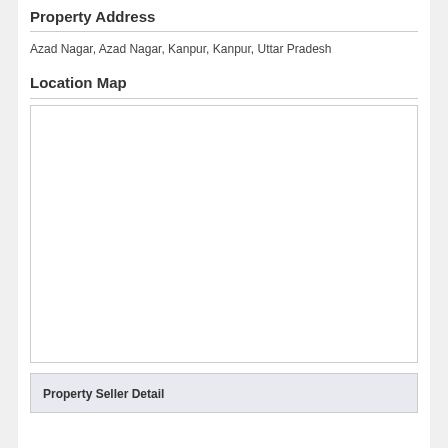Property Address
Azad Nagar, Azad Nagar, Kanpur, Kanpur, Uttar Pradesh
Location Map
[Figure (map): Blank location map placeholder box for property in Azad Nagar, Kanpur, Uttar Pradesh]
Property Seller Detail